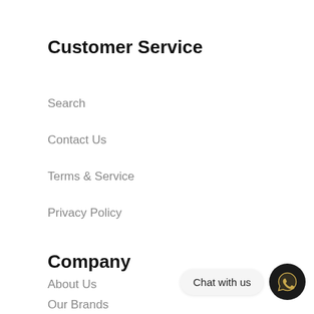Customer Service
Search
Contact Us
Terms & Service
Privacy Policy
Company
About Us
Our Brands
[Figure (other): WhatsApp chat widget with 'Chat with us' label and WhatsApp icon on dark circular button]